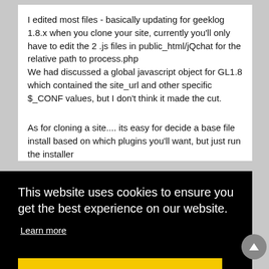I edited most files - basically updating for geeklog 1.8.x when you clone your site, currently you'll only have to edit the 2 .js files in public_html/jQchat for the relative path to process.php
We had discussed a global javascript object for GL1.8 which contained the site_url and other specific $_CONF values, but I don't think it made the cut.
As for cloning a site.... its easy for decide a base file install based on which plugins you'll want, but just run the installer
[Figure (screenshot): Cookie consent overlay banner with black background. Text reads 'This website uses cookies to ensure you get the best experience on our website.' with a 'Learn more' link and a yellow 'Got it!' button.]